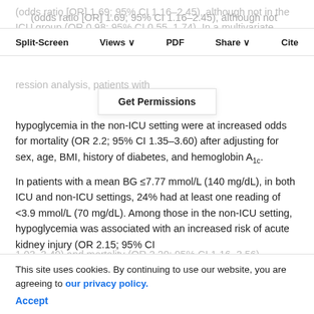(odds ratio [OR] 1.69; 95% CI 1.16–2.45), although not in the ICU group (OR 0.98; 95% CI 0.55–1.74). In a multivariate logistic regression analysis, patients with hypoglycemia in the non-ICU setting were at increased odds for mortality (OR 2.2; 95% CI 1.35–3.60) after adjusting for sex, age, BMI, history of diabetes, and hemoglobin A1c.
Split-Screen | Views | PDF | Share | Cite
Get Permissions
In patients with a mean BG ≤7.77 mmol/L (140 mg/dL), in both ICU and non-ICU settings, 24% had at least one reading of <3.9 mmol/L (70 mg/dL). Among those in the non-ICU setting, hypoglycemia was associated with an increased risk of acute kidney injury (OR 2.15; 95% CI 1.03–3.49) and mortality (OR 2.20; 95% CI 1.16–3.56).
We performed a secondary analysis using a mean BG of 141–180 mg/dL as the reference group, because this is a
This site uses cookies. By continuing to use our website, you are agreeing to our privacy policy. Accept